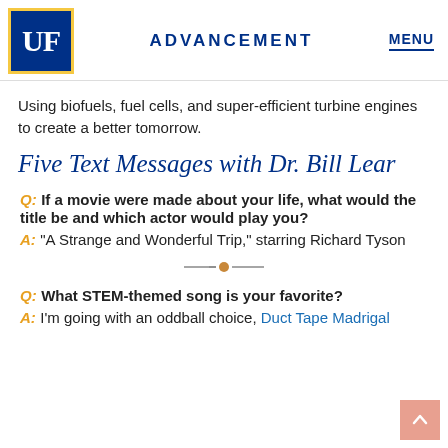UF ADVANCEMENT MENU
Using biofuels, fuel cells, and super-efficient turbine engines to create a better tomorrow.
Five Text Messages with Dr. Bill Lear
Q: If a movie were made about your life, what would the title be and which actor would play you?
A: "A Strange and Wonderful Trip," starring Richard Tyson
Q: What STEM-themed song is your favorite?
A: I'm going with an oddball choice, Duct Tape Madrigal